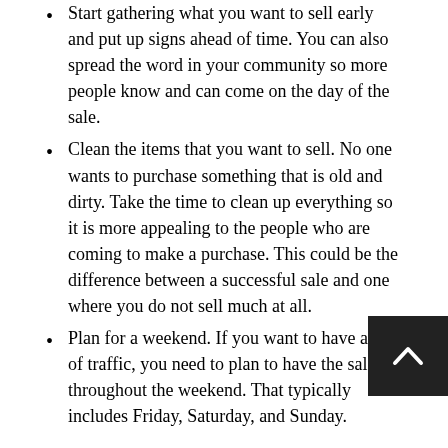Start gathering what you want to sell early and put up signs ahead of time. You can also spread the word in your community so more people know and can come on the day of the sale.
Clean the items that you want to sell. No one wants to purchase something that is old and dirty. Take the time to clean up everything so it is more appealing to the people who are coming to make a purchase. This could be the difference between a successful sale and one where you do not sell much at all.
Plan for a weekend. If you want to have a lot of traffic, you need to plan to have the sale throughout the weekend. That typically includes Friday, Saturday, and Sunday.
Using these tips, you can plan a better garage sale and result in more money for your endeavors. While you are trying to make money, you should also look for ways to save money. Whether you currently have a home insurance policy or not, you can look to see if you can get a better deal on one from Strack Insurance S[...] serving Arlington, TX. They can find you one that can bett[...]t your home and finances while fitting into your budget.